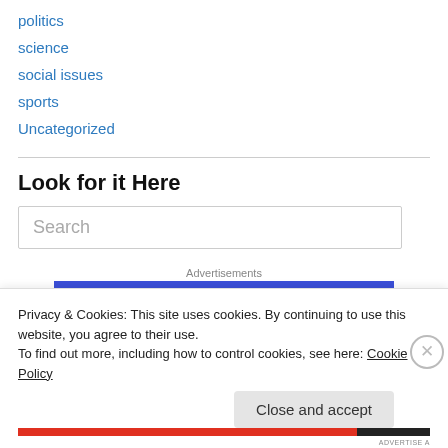politics
science
social issues
sports
Uncategorized
Look for it Here
Search
Advertisements
Privacy & Cookies: This site uses cookies. By continuing to use this website, you agree to their use.
To find out more, including how to control cookies, see here: Cookie Policy
Close and accept